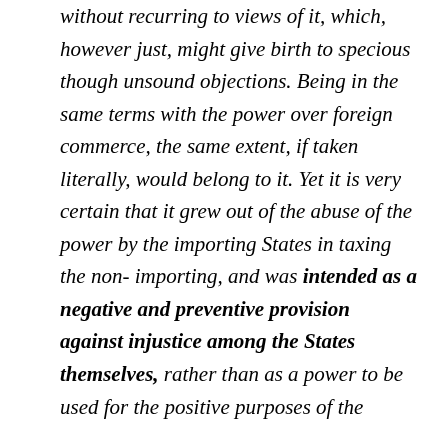without recurring to views of it, which, however just, might give birth to specious though unsound objections. Being in the same terms with the power over foreign commerce, the same extent, if taken literally, would belong to it. Yet it is very certain that it grew out of the abuse of the power by the importing States in taxing the non-importing, and was intended as a negative and preventive provision against injustice among the States themselves, rather than as a power to be used for the positive purposes of the